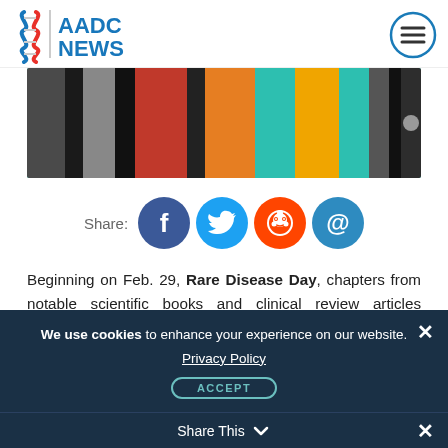[Figure (logo): AADC News logo with DNA helix icon and menu button]
[Figure (photo): Colorful books spines on a shelf with teal, black, red, orange, yellow background]
[Figure (infographic): Social share bar with Facebook, Twitter, Reddit, and email icons]
Beginning on Feb. 29, Rare Disease Day, chapters from notable scientific books and clinical review articles covering rare disorders will be available free-of-charge from Elsevier.
The offer runs through April 30, and aims to
We use cookies to enhance your experience on our website. Privacy Policy
Share This